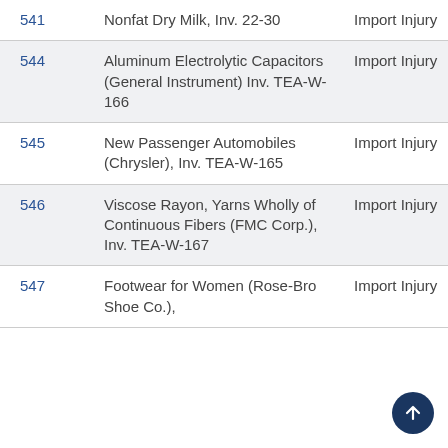| # | Description | Type |
| --- | --- | --- |
| 541 | Nonfat Dry Milk, Inv. 22-30 | Import Injury |
| 544 | Aluminum Electrolytic Capacitors (General Instrument) Inv. TEA-W-166 | Import Injury |
| 545 | New Passenger Automobiles (Chrysler), Inv. TEA-W-165 | Import Injury |
| 546 | Viscose Rayon, Yarns Wholly of Continuous Fibers (FMC Corp.), Inv. TEA-W-167 | Import Injury |
| 547 | Footwear for Women (Rose-Bro Shoe Co.), | Import Injury |